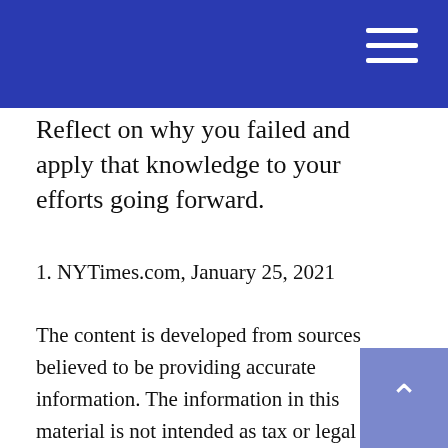Reflect on why you failed and apply that knowledge to your efforts going forward.
1. NYTimes.com, January 25, 2021
The content is developed from sources believed to be providing accurate information. The information in this material is not intended as tax or legal advice. It may not be used for the purpose of avoiding any federal tax penalties. Please consult legal or tax professionals for specific information regarding your individual situation. This material was developed and produced by FMG Suite to provide information on a topic that may be of interest. FMG Suite is not affiliated with the named broker-dealer, state- or SEC-registered investment advisory firm. The opinions expressed and material provided are for general information, and should not be considered a solicitation for the purchase or sale of any security. Copyright 2022 FMG Suite.